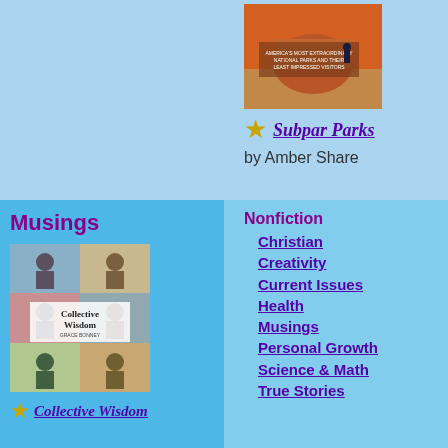[Figure (photo): Book cover for Subpar Parks by Amber Share showing illustration of national park landscape with visitor]
★ Subpar Parks
by Amber Share
Musings
[Figure (photo): Book cover for Collective Wisdom by Grace Bonney showing collage of women over 50]
★ Collective Wisdom
Nonfiction
Christian
Creativity
Current Issues
Health
Musings
Personal Growth
Science & Math
True Stories